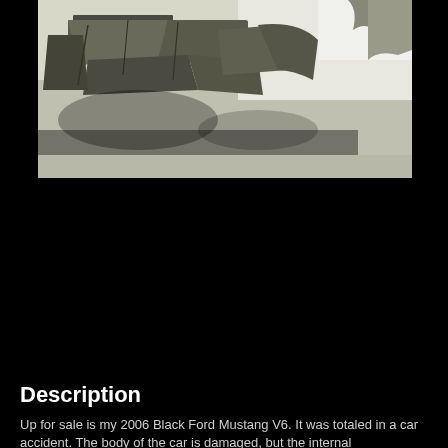[Figure (photo): Photograph of the undercarriage/chassis of a damaged 2006 Black Ford Mustang V6, showing crumpled and bent metal components, taken from below the vehicle. The damage appears significant with bent structural elements visible. Background is white/bright sky.]
Description
Up for sale is my 2006 Black Ford Mustang V6. It was totaled in a car accident. The body of the car is damaged, but the internal